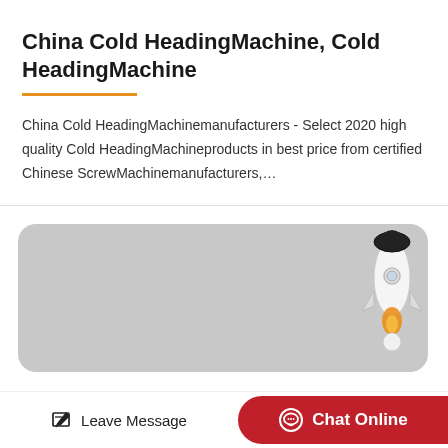China Cold HeadingMachine, Cold HeadingMachine
China Cold HeadingMachinemanufacturers - Select 2020 high quality Cold HeadingMachineproducts in best price from certified Chinese ScrewMachinemanufacturers,…
[Figure (illustration): Gray rounded rectangle banner with a rocket illustration in the top-right corner. The rocket is white with a black top, orange flame, and a white spherical bottom.]
Leave Message
Chat Online